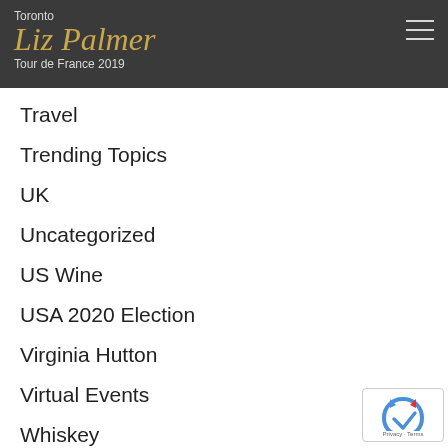Toronto Liz Palmer Tour de France 2019
Travel
Trending Topics
UK
Uncategorized
US Wine
USA 2020 Election
Virginia Hutton
Virtual Events
Whiskey
Whisky